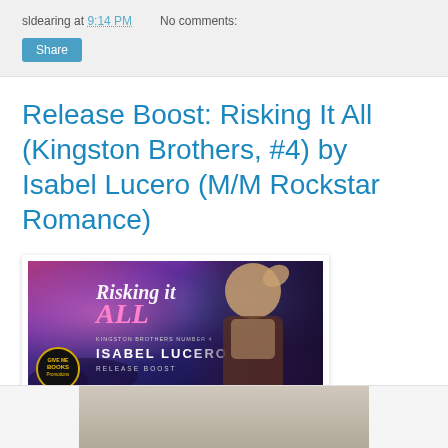sldearing at 9:14 PM   No comments:
Release Boost: Risking It All (Kingston Brothers, #4) by Isabel Lucero (M/M Rockstar Romance)
[Figure (photo): Book release banner for 'Risking It All' by Isabel Lucero. Shows a shirtless man against a concert background with pink/purple stage lights. Text reads 'Risking It All', 'ISABEL LUCERO', 'KINGSTON BROTHERS NUMBER 4', 'RELEASE BOOST'. Gold/black circular badge in bottom-left corner reading 'GIVE ME BOOKS Promotions'.]
[Figure (photo): Partial image of book cover visible at bottom of page, cropped.]